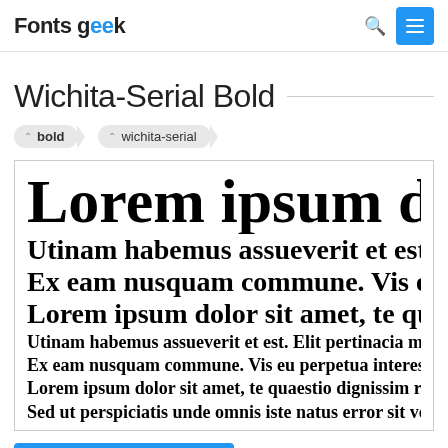Fonts geek
Wichita-Serial Bold
bold
wichita-serial
[Figure (other): Font preview showing Lorem ipsum text in Wichita-Serial Bold at multiple sizes]
Lorem ipsum dolor sit amet, te quaestio dignissim repudiand Utinam habemus assueverit et est. Elit pertinacia mea no. At Ex eam nusquam commune. Vis eu perpetua interesset. Utro Sed ut perspiciatis unde omnis iste natus error sit voluptatem